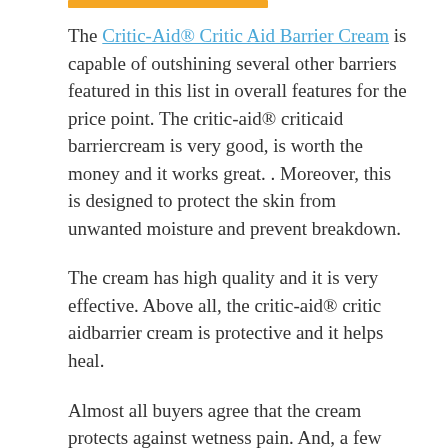[Figure (other): Orange decorative horizontal bar at the top of the page]
The Critic-Aid® Critic Aid Barrier Cream is capable of outshining several other barriers featured in this list in overall features for the price point. The critic-aid® criticaid barriercream is very good, is worth the money and it works great. . Moreover, this is designed to protect the skin from unwanted moisture and prevent breakdown.
The cream has high quality and it is very effective. Above all, the critic-aid® critic aidbarrier cream is protective and it helps heal.
Almost all buyers agree that the cream protects against wetness pain. And, a few also found that the cream has always worked so well. And, a few